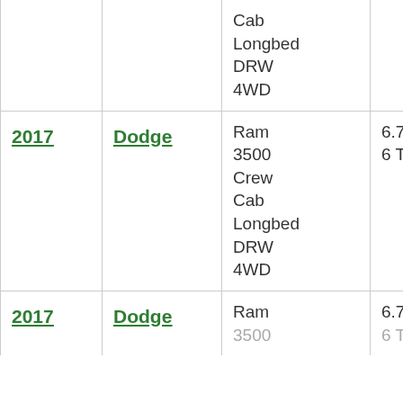| Year | Make | Model | Engine |
| --- | --- | --- | --- |
|  |  | Cab
Longbed
DRW
4WD |  |
| 2017 | Dodge | Ram 3500 Crew Cab Longbed DRW 4WD | 6.7L I-6 TD |
| 2017 | Dodge | Ram 3500 | 6.7L I-6 TD |